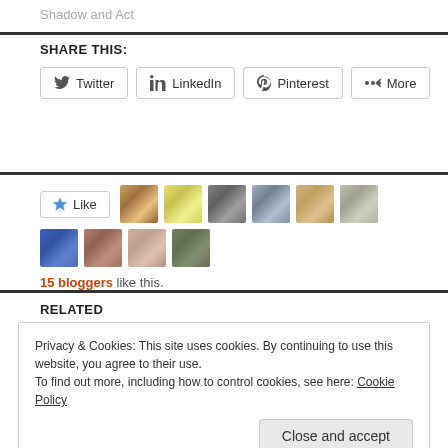Shadow and Act
SHARE THIS:
Twitter  LinkedIn  Pinterest  More
[Figure (screenshot): Like button with star icon and 10 blogger avatar thumbnails]
15 bloggers like this.
RELATED
Privacy & Cookies: This site uses cookies. By continuing to use this website, you agree to their use. To find out more, including how to control cookies, see here: Cookie Policy
Close and accept
A Free Man on Sunday